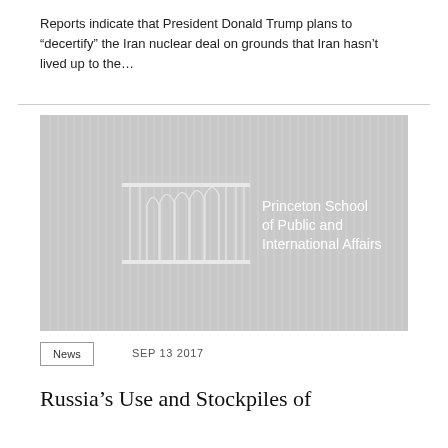Reports indicate that President Donald Trump plans to "decertify" the Iran nuclear deal on grounds that Iran hasn't lived up to the...
[Figure (logo): Princeton School of Public and International Affairs logo on a light gray background with decorative arch/column motif]
News   SEP 13 2017
Russia's Use and Stockpiles of